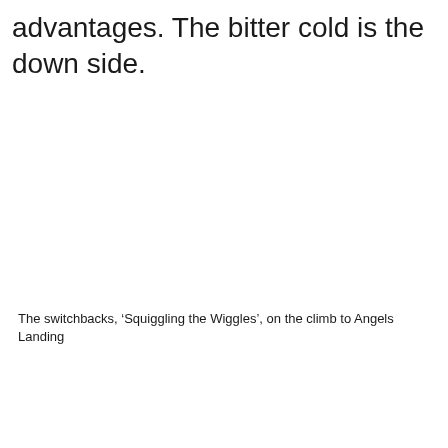advantages. The bitter cold is the down side.
The switchbacks, ‘Squiggling the Wiggles’, on the climb to Angels Landing